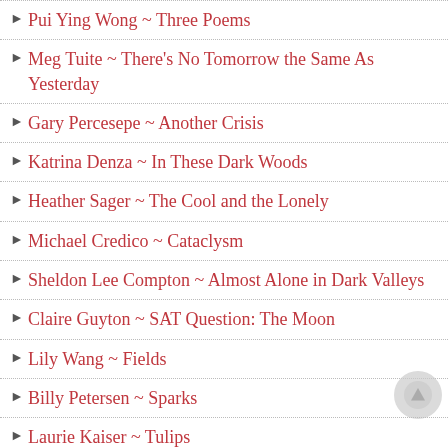Pui Ying Wong ~ Three Poems
Meg Tuite ~ There's No Tomorrow the Same As Yesterday
Gary Percesepe ~ Another Crisis
Katrina Denza ~ In These Dark Woods
Heather Sager ~ The Cool and the Lonely
Michael Credico ~ Cataclysm
Sheldon Lee Compton ~ Almost Alone in Dark Valleys
Claire Guyton ~ SAT Question: The Moon
Lily Wang ~ Fields
Billy Petersen ~ Sparks
Laurie Kaiser ~ Tulips